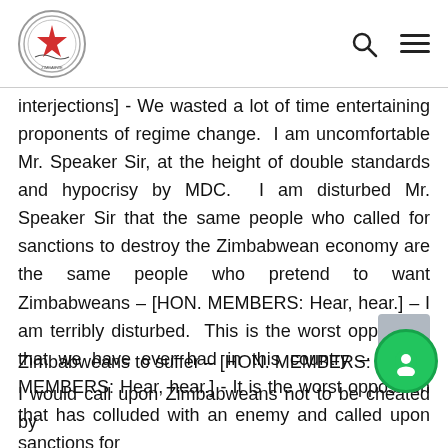Parliament of Zimbabwe header with logo, search icon, and menu icon
interjections] - We wasted a lot of time entertaining proponents of regime change. I am uncomfortable Mr. Speaker Sir, at the height of double standards and hypocrisy by MDC. I am disturbed Mr. Speaker Sir that the same people who called for sanctions to destroy the Zimbabwean economy are the same people who pretend to want Zimbabweans – [HON. MEMBERS: Hear, hear.] – I am terribly disturbed. This is the worst opposition that we have ever had in this country – [HON. MEMBERS: Hear, hear.] - It is the worst opposition that has colluded with an enemy and called upon sanctions for
Zimbabweans to suffer – [HON. MEMBERS: Hea
I would call upon Zimbabweans not to be cheated by